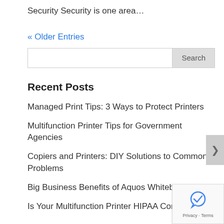Security Security is one area…
« Older Entries
Recent Posts
Managed Print Tips: 3 Ways to Protect Printers
Multifunction Printer Tips for Government Agencies
Copiers and Printers: DIY Solutions to Common Problems
Big Business Benefits of Aquos Whiteboards
Is Your Multifunction Printer HIPAA Complia…